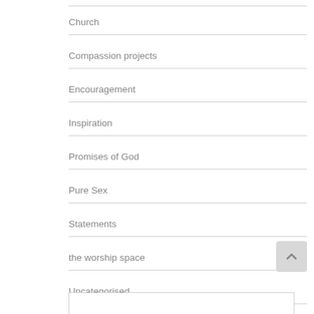Church
Compassion projects
Encouragement
Inspiration
Promises of God
Pure Sex
Statements
the worship space
Uncategorised